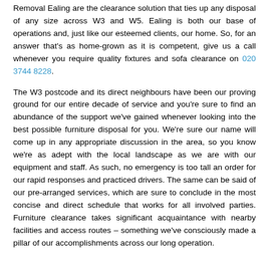Removal Ealing are the clearance solution that ties up any disposal of any size across W3 and W5. Ealing is both our base of operations and, just like our esteemed clients, our home. So, for an answer that's as home-grown as it is competent, give us a call whenever you require quality fixtures and sofa clearance on 020 3744 8228.
The W3 postcode and its direct neighbours have been our proving ground for our entire decade of service and you're sure to find an abundance of the support we've gained whenever looking into the best possible furniture disposal for you. We're sure our name will come up in any appropriate discussion in the area, so you know we're as adept with the local landscape as we are with our equipment and staff. As such, no emergency is too tall an order for our rapid responses and practiced drivers. The same can be said of our pre-arranged services, which are sure to conclude in the most concise and direct schedule that works for all involved parties. Furniture clearance takes significant acquaintance with nearby facilities and access routes – something we've consciously made a pillar of our accomplishments across our long operation.
The Furniture Disposal Specialists in W5 That Will Meet All Your Requirements
But don't just take our loyal customers' testimonials as gospel, when we can explain in explicit detail how you can profit from our help. Open up a talk with us when you've decided what you require, and we'll show you an array of routes to complete it with a speed that doesn't drag out your spare time or interrupt work. Each of our employees is